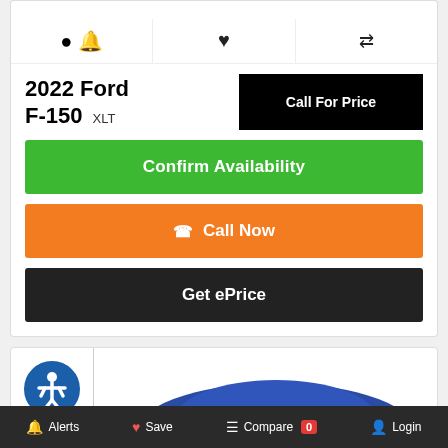[Figure (screenshot): Top of a vehicle card showing the bottom portion of a black pickup truck image]
Bell (alert) icon
Heart (save) icon
Compare arrows icon
2022 Ford F-150 XLT
Call For Price
Confirm Availability
Call Now
Get ePrice
[Figure (screenshot): Second vehicle card showing accessibility icon and partial blue vehicle image]
Alerts  Save  Compare 0  Login